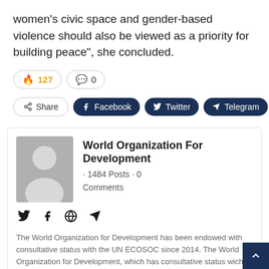women's civic space and gender-based violence should also be viewed as a priority for building peace", she concluded.
[Figure (infographic): Reaction bar showing 127 fire reactions and 0 comments, with Share, Facebook, Twitter, Telegram, and + buttons]
[Figure (infographic): Author card for World Organization For Development with avatar placeholder, 1484 Posts, 0 Comments, social icons, and bio text about consultative status with UN ECOSOC since 2014]